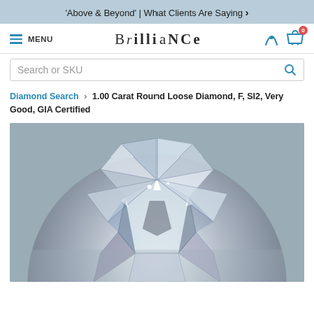'Above & Beyond' | What Clients Are Saying >
[Figure (logo): Brilliance jewelry retail website navigation bar with hamburger menu, BRILLIANCE logo, phone icon, and cart icon with badge showing 0]
Search or SKU
Diamond Search > 1.00 Carat Round Loose Diamond, F, SI2, Very Good, GIA Certified
[Figure (photo): Close-up top view of a round brilliant cut diamond showing facets, reflections, and sparkle against a grey background. Upper half of diamond visible.]